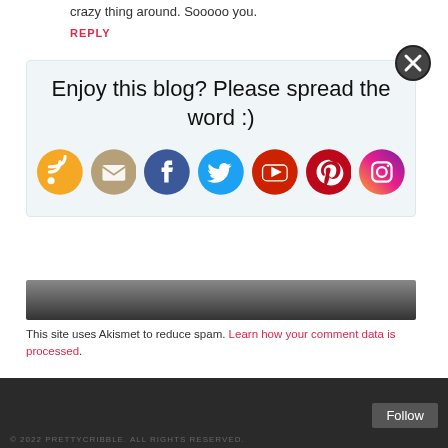crazy thing around. Sooooo you.
REPLY
[Figure (infographic): Popup box with social sharing prompt 'Enjoy this blog? Please spread the word :)' with social media icons: RSS, Email, Facebook, Twitter, YouTube, Pinterest, Instagram. Has a close (X) button.]
This site uses Akismet to reduce spam. Learn how your comment data is processed.
© 2022 PRETTYCRIBBLE. ALL RIGHTS RESERVED.